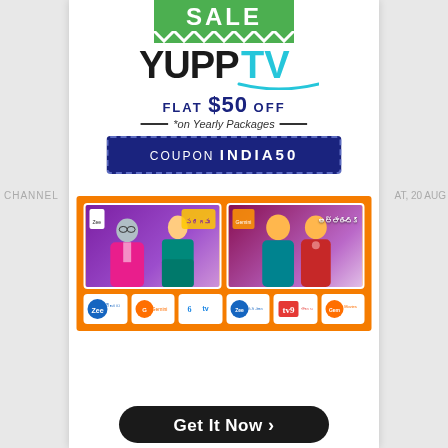SALE
[Figure (logo): YuppTV logo with teal underline arc]
FLAT $50 OFF
*on Yearly Packages
COUPON INDIA50
[Figure (illustration): Orange promotional banner with two Telugu TV show thumbnails showing actors, plus six channel logos: Zee Telugu, Gemini, ETV, Zee Cinemalu, TV9 Telugu, Gemini Movies]
Get It Now >